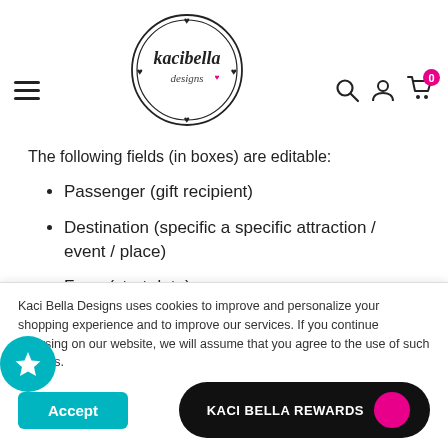[Figure (logo): Kaci Bella Designs logo — circular border with hearts and cursive/script text 'kacibella designs' in black and pink]
The following fields (in boxes) are editable:
Passenger (gift recipient)
Destination (specific a specific attraction / event / place)
From (start date)
To (end date)
Kaci Bella Designs uses cookies to improve and personalize your shopping experience and to improve our services. If you continue browsing on our website, we will assume that you agree to the use of such cookies.
Accept
KACI BELLA REWARDS